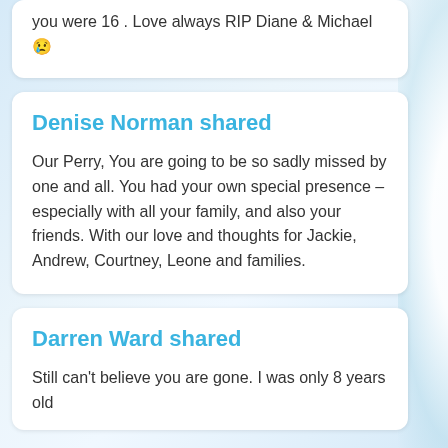you were 16 . Love always RIP Diane & Michael 😢
Denise Norman shared
Our Perry, You are going to be so sadly missed by one and all. You had your own special presence – especially with all your family, and also your friends. With our love and thoughts for Jackie, Andrew, Courtney, Leone and families.
Darren Ward shared
Still can't believe you are gone. I was only 8 years old